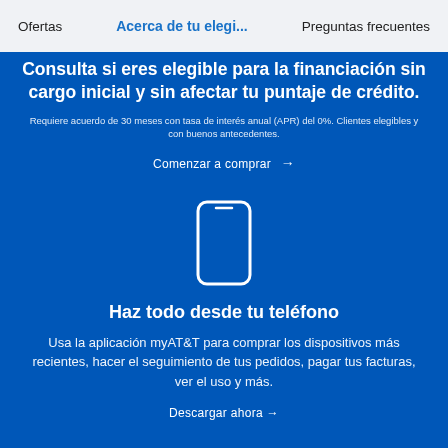Ofertas | Acerca de tu elegi... | Preguntas frecuentes
Consulta si eres elegible para la financiación sin cargo inicial y sin afectar tu puntaje de crédito.
Requiere acuerdo de 30 meses con tasa de interés anual (APR) del 0%. Clientes elegibles y con buenos antecedentes.
Comenzar a comprar →
[Figure (illustration): White outline icon of a smartphone on blue background]
Haz todo desde tu teléfono
Usa la aplicación myAT&T para comprar los dispositivos más recientes, hacer el seguimiento de tus pedidos, pagar tus facturas, ver el uso y más.
Descargar ahora →